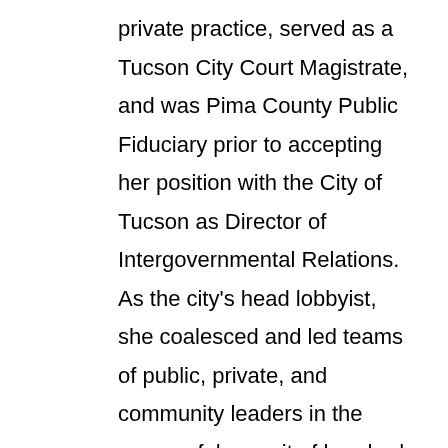private practice, served as a Tucson City Court Magistrate, and was Pima County Public Fiduciary prior to accepting her position with the City of Tucson as Director of Intergovernmental Relations. As the city's head lobbyist, she coalesced and led teams of public, private, and community leaders in the successful pursuit of hundreds of millions of dollars of federal and state funding opportunities for downtown efforts, which included the Modern Street Car project.
Mary has facilitated town halls, public